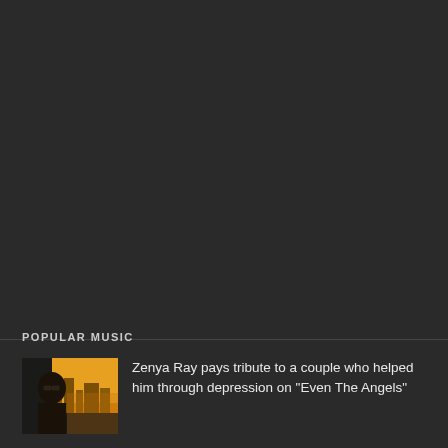POPULAR MUSIC
[Figure (photo): Thumbnail photo of a person (Zenya Ray) with warm orange/yellow tones, appears to be outdoors]
Zenya Ray pays tribute to a couple who helped him through depression on "Even The Angels"